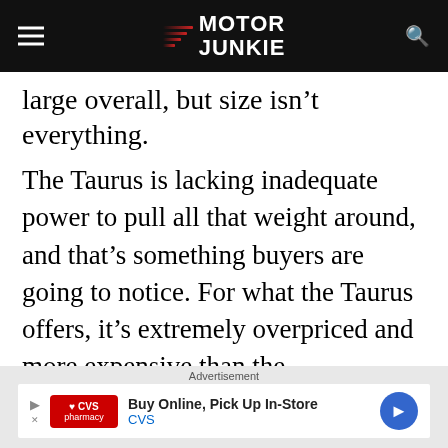Motor Junkie
large overall, but size isn't everything.
The Taurus is lacking inadequate power to pull all that weight around, and that's something buyers are going to notice. For what the Taurus offers, it's extremely overpriced and more expensive than the competition. Even the limited edition SHO
Advertisement
[Figure (other): CVS pharmacy advertisement: Buy Online, Pick Up In-Store]